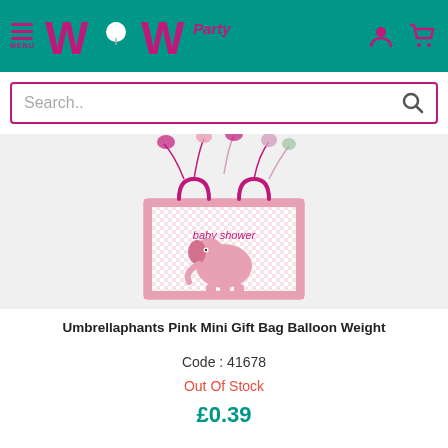WOW Party Supplies - MENU header with search bar
[Figure (photo): Pink baby shower gift bag balloon weight with elephant design and pink ribbons/balloons on top]
Umbrellaphants Pink Mini Gift Bag Balloon Weight
Code : 41678
Out Of Stock
£0.39